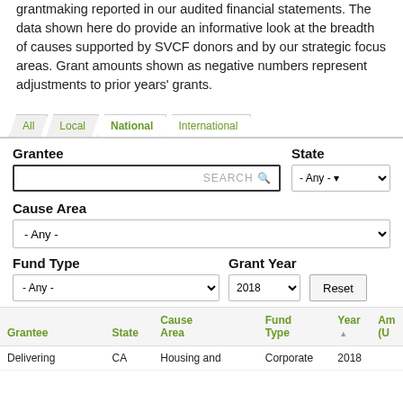grantmaking reported in our audited financial statements. The data shown here do provide an informative look at the breadth of causes supported by SVCF donors and by our strategic focus areas. Grant amounts shown as negative numbers represent adjustments to prior years' grants.
[Figure (screenshot): Tab navigation with four tabs: All, Local, National (active), International]
Grantee
State
Cause Area
Fund Type
Grant Year
| Grantee | State | Cause Area | Fund Type | Year | Am (U |
| --- | --- | --- | --- | --- | --- |
| Delivering | CA | Housing and | Corporate | 2018 |  |